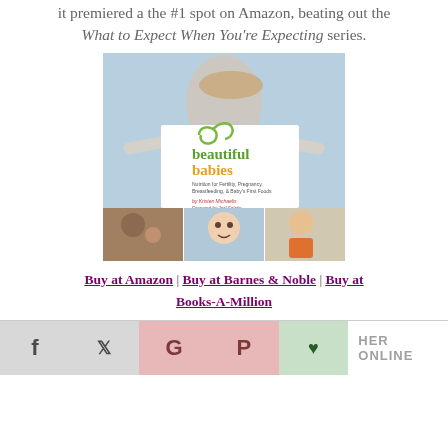it premiered a the #1 spot on Amazon, beating out the What to Expect When You're Expecting series.
[Figure (photo): Book cover of 'beautiful babies: Nutrition for Fertility, Pregnancy, Breastfeeding, & Baby's First Foods' by Kristen Michaelis, Foreword by Joel Salatin. Cover shows a woman laughing with arms outstretched, and three photos of babies/children at bottom.]
Buy at Amazon | Buy at Barnes & Noble | Buy at Books-A-Million
HER ONLINE